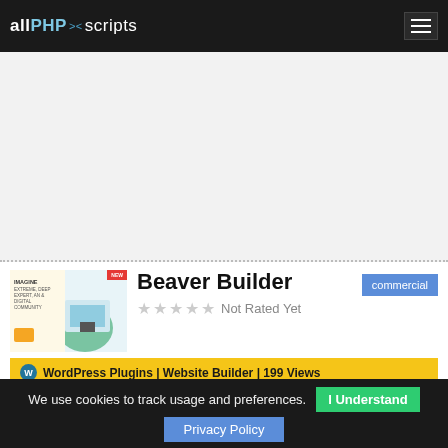allPHPscripts
[Figure (other): Advertisement banner area]
Beaver Builder
commercial
Not Rated Yet
WordPress Plugins | Website Builder | 199 Views
Beaver Builder is a premium WordPress page builder plugin that allows you to unleash your creativity with your website. With this powerful and flexible page builder plugin, you can build it to that
We use cookies to track usage and preferences.  I Understand
Privacy Policy